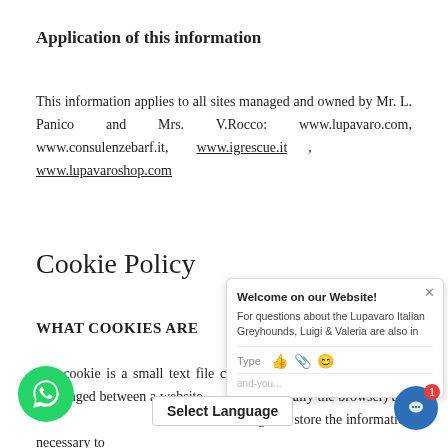Application of this information
This information applies to all sites managed and owned by Mr. L. Panico and Mrs. V.Rocco: www.lupavaro.com, www.consulenzebarf.it, www.igrescue.it , www.lupavaroshop.com
Cookie Policy
WHAT COOKIES ARE
The cookie is a small text file containing a certain formation exchanged between a website and a terminal (usually the browser) and ... website manager to store the information necessary to